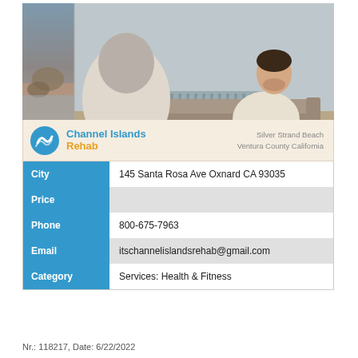[Figure (photo): A therapy or counseling session photo: a man in a white sweater sitting on a couch, with an older person (therapist) in foreground with gray hair, taking notes. Left side has a beach/coastal scene strip. Logo banner below shows Channel Islands Rehab with Silver Strand Beach, Ventura County California.]
| Field | Value |
| --- | --- |
| City | 145 Santa Rosa Ave Oxnard CA 93035 |
| Price |  |
| Phone | 800-675-7963 |
| Email | itschannelislandsrehab@gmail.com |
| Category | Services: Health & Fitness |
Nr.: 118217, Date: 6/22/2022